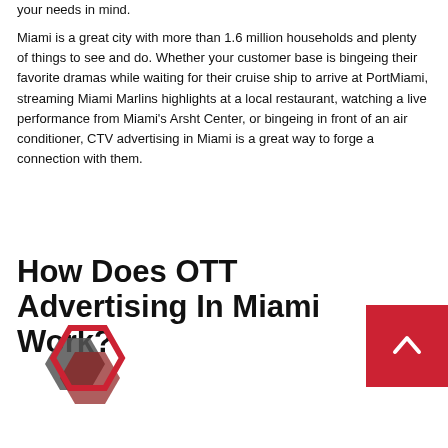your needs in mind.
Miami is a great city with more than 1.6 million households and plenty of things to see and do. Whether your customer base is bingeing their favorite dramas while waiting for their cruise ship to arrive at PortMiami, streaming Miami Marlins highlights at a local restaurant, watching a live performance from Miami's Arsht Center, or bingeing in front of an air conditioner, CTV advertising in Miami is a great way to forge a connection with them.
How Does OTT Advertising In Miami Work?
[Figure (logo): Hexagonal logo mark with overlapping shapes in dark gray and red/dark red colors]
[Figure (other): Red square button with white upward-pointing chevron/caret arrow]